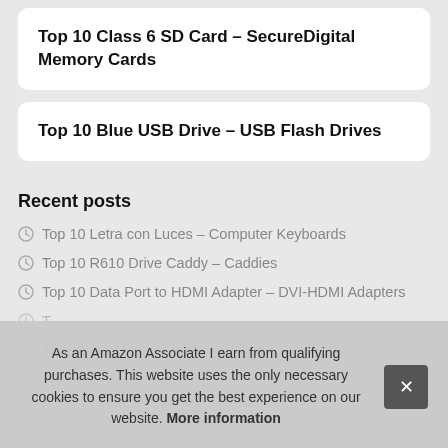Top 10 Class 6 SD Card – SecureDigital Memory Cards
Top 10 Blue USB Drive – USB Flash Drives
Recent posts
Top 10 Letra con Luces – Computer Keyboards
Top 10 R610 Drive Caddy – Caddies
Top 10 Data Port to HDMI Adapter – DVI-HDMI Adapters
T… (partially obscured)
T… Drives (partially obscured)
Top 10 Slap Bodysuits For Women – Cat 7 Ethernet Cables
As an Amazon Associate I earn from qualifying purchases. This website uses the only necessary cookies to ensure you get the best experience on our website. More information